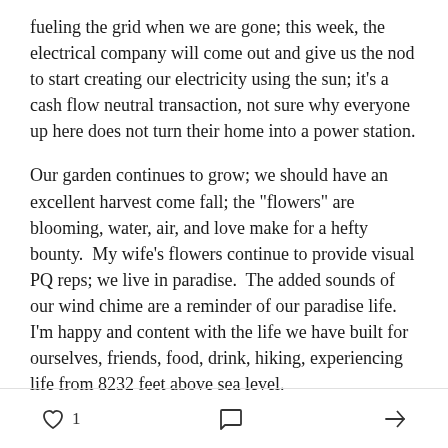fueling the grid when we are gone; this week, the electrical company will come out and give us the nod to start creating our electricity using the sun; it's a cash flow neutral transaction, not sure why everyone up here does not turn their home into a power station.
Our garden continues to grow; we should have an excellent harvest come fall; the "flowers" are blooming, water, air, and love make for a hefty bounty.  My wife's flowers continue to provide visual PQ reps; we live in paradise.  The added sounds of our wind chime are a reminder of our paradise life. I'm happy and content with the life we have built for ourselves, friends, food, drink, hiking, experiencing life from 8232 feet above sea level.
1 [like] [comment] [share]